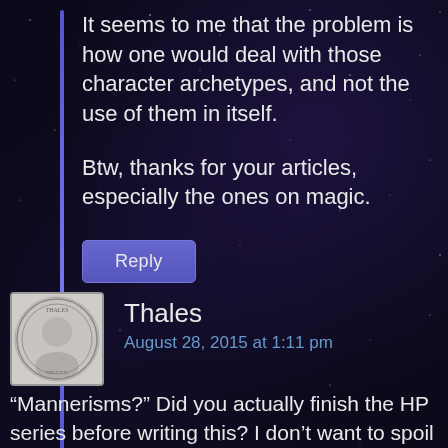It seems to me that the problem is how one would deal with those character archetypes, and not the use of them in itself.
Btw, thanks for your articles, especially the ones on magic.
Reply
Thales
August 28, 2015 at 1:11 pm
“Mannerisms?” Did you actually finish the HP series before writing this? I don’t want to spoil it for you…